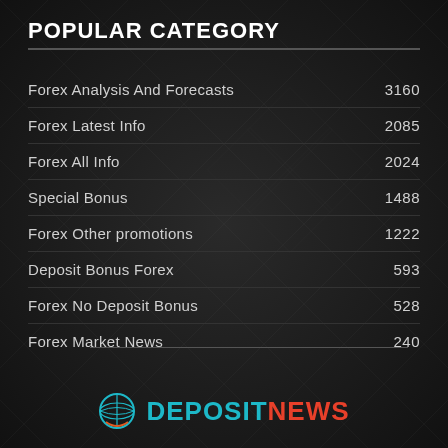POPULAR CATEGORY
Forex Analysis And Forecasts    3160
Forex Latest Info    2085
Forex All Info    2024
Special Bonus    1488
Forex Other promotions    1222
Deposit Bonus Forex    593
Forex No Deposit Bonus    528
Forex Market News    240
[Figure (logo): DepositNews logo with globe icon, DEPOSIT in teal and NEWS in red]